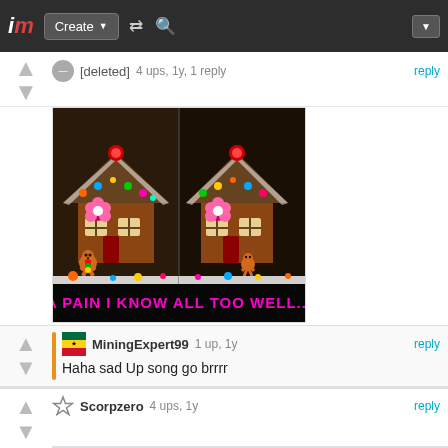im | Create | [shuffle icon] [search icon]
[deleted]   4 ups, 1y, 1 reply
[Figure (photo): Two gingerbread houses side by side with candy decorations and gingerbread man figure, with text 'A PAIN I KNOW ALL TOO WELL...' in pink/magenta Impact font at the bottom]
MiningExpert99   1 up, 1y
Haha sad Up song go brrrr
Scorpzero   4 ups, 1y
[Figure (photo): Partial image of a bald man in a room, cropped at bottom of page]